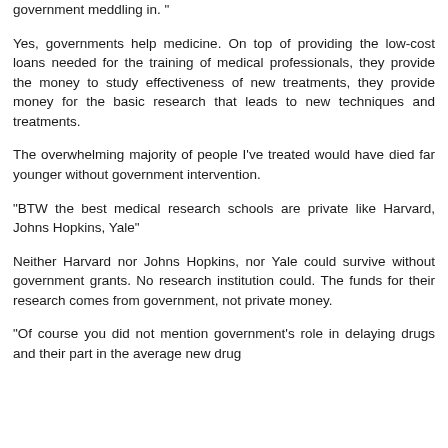government meddling in. "
Yes, governments help medicine. On top of providing the low-cost loans needed for the training of medical professionals, they provide the money to study effectiveness of new treatments, they provide money for the basic research that leads to new techniques and treatments.
The overwhelming majority of people I've treated would have died far younger without government intervention.
"BTW the best medical research schools are private like Harvard, Johns Hopkins, Yale"
Neither Harvard nor Johns Hopkins, nor Yale could survive without government grants. No research institution could. The funds for their research comes from government, not private money.
"Of course you did not mention government's role in delaying drugs and their part in the average new drug